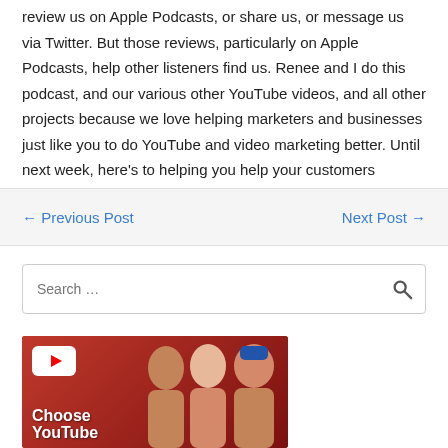review us on Apple Podcasts, or share us, or message us via Twitter. But those reviews, particularly on Apple Podcasts, help other listeners find us. Renee and I do this podcast, and our various other YouTube videos, and all other projects because we love helping marketers and businesses just like you to do YouTube and video marketing better. Until next week, here's to helping you help your customers through video.
← Previous Post    Next Post →
Search …
[Figure (photo): Thumbnail image with red background showing three people smiling, YouTube play button logo, and text 'Choose YouTube']